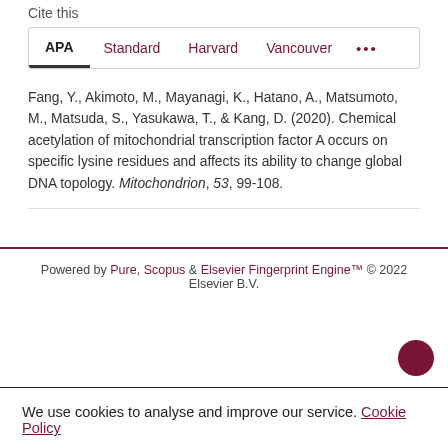Cite this
Fang, Y., Akimoto, M., Mayanagi, K., Hatano, A., Matsumoto, M., Matsuda, S., Yasukawa, T., & Kang, D. (2020). Chemical acetylation of mitochondrial transcription factor A occurs on specific lysine residues and affects its ability to change global DNA topology. Mitochondrion, 53, 99-108.
Powered by Pure, Scopus & Elsevier Fingerprint Engine™ © 2022 Elsevier B.V.
We use cookies to analyse and improve our service. Cookie Policy